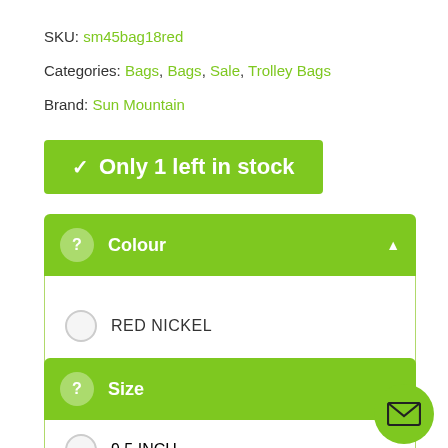SKU: sm45bag18red
Categories: Bags, Bags, Sale, Trolley Bags
Brand: Sun Mountain
✓ Only 1 left in stock
? Colour ▲
RED NICKEL
? Size
9.5 INCH